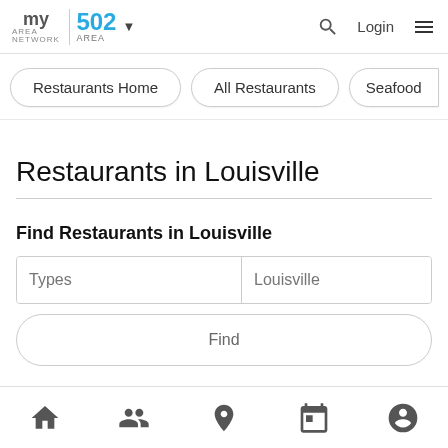my area network | 502 AREA | Login
Restaurants Home
All Restaurants
Seafood
Restaurants in Louisville
Find Restaurants in Louisville
Types | Louisville
Find
Home | People | Location | Calendar | Profile